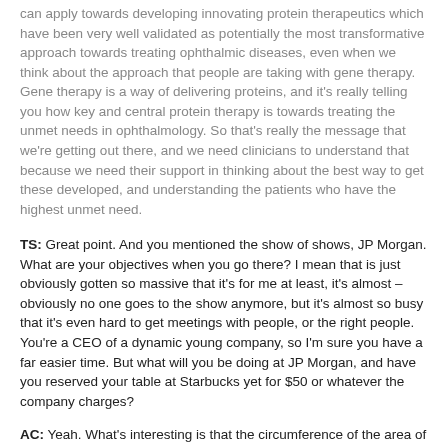can apply towards developing innovating protein therapeutics which have been very well validated as potentially the most transformative approach towards treating ophthalmic diseases, even when we think about the approach that people are taking with gene therapy. Gene therapy is a way of delivering proteins, and it's really telling you how key and central protein therapy is towards treating the unmet needs in ophthalmology. So that's really the message that we're getting out there, and we need clinicians to understand that because we need their support in thinking about the best way to get these developed, and understanding the patients who have the highest unmet need.
TS: Great point. And you mentioned the show of shows, JP Morgan. What are your objectives when you go there? I mean that is just obviously gotten so massive that it's for me at least, it's almost – obviously no one goes to the show anymore, but it's almost so busy that it's even hard to get meetings with people, or the right people. You're a CEO of a dynamic young company, so I'm sure you have a far easier time. But what will you be doing at JP Morgan, and have you reserved your table at Starbucks yet for $50 or whatever the company charges?
AC: Yeah. What's interesting is that the circumference of the area of meetings at JP Morgan has become much broader.